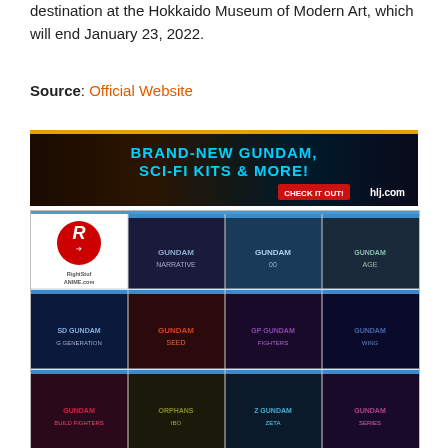destination at the Hokkaido Museum of Modern Art, which will end January 23, 2022.
Source: Official Website
[Figure (photo): Advertisement banner for HLJ.com: Brand-new Gundam, Sci-Fi Kits & More! Check It Out!]
[Figure (photo): RightStuf Anime advertisement showing multiple Gundam Blu-ray covers in a grid layout including various Gundam series titles]